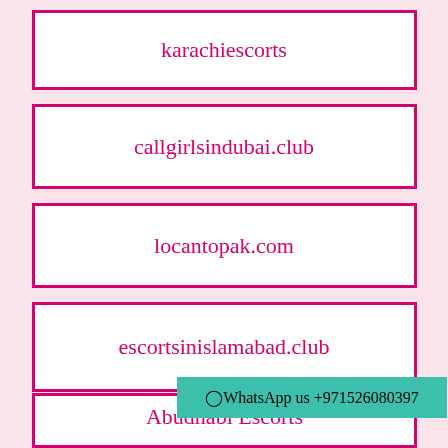karachiescorts
callgirlsindubai.club
locantopak.com
escortsinislamabad.club
WhatsApp us +971526080397
Abudhabi Escorts